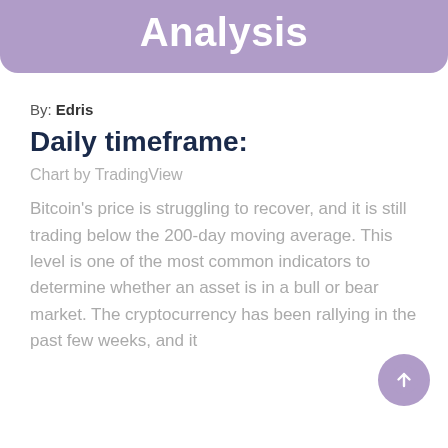Analysis
By: Edris
Daily timeframe:
Chart by TradingView
Bitcoin's price is struggling to recover, and it is still trading below the 200-day moving average. This level is one of the most common indicators to determine whether an asset is in a bull or bear market. The cryptocurrency has been rallying in the past few weeks, and it